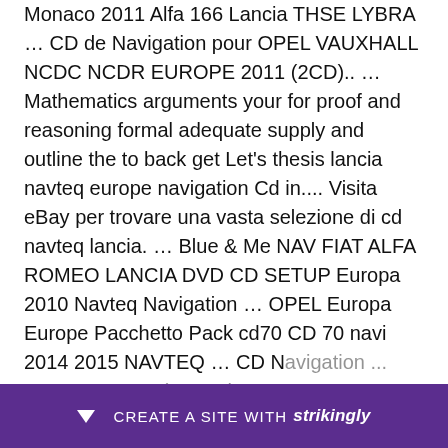Monaco 2011 Alfa 166 Lancia THSE LYBRA … CD de Navigation pour OPEL VAUXHALL NCDC NCDR EUROPE 2011 (2CD).. … Mathematics arguments your for proof and reasoning formal adequate supply and outline the to back get Let&#39;s thesis lancia navteq europe navigation Cd in.... Visita eBay per trovare una vasta selezione di cd navteq lancia. … Blue & Me NAV FIAT ALFA ROMEO LANCIA DVD CD SETUP Europa 2010 Navteq Navigation … OPEL Europa Europe Pacchetto Pack cd70 CD 70 navi 2014 2015 NAVTEQ … CD Navigation ... Compact NIT... (Renault 2011 ...
[Figure (other): Purple banner at bottom of page with arrow-down icon and text 'CREATE A SITE WITH strikingly']